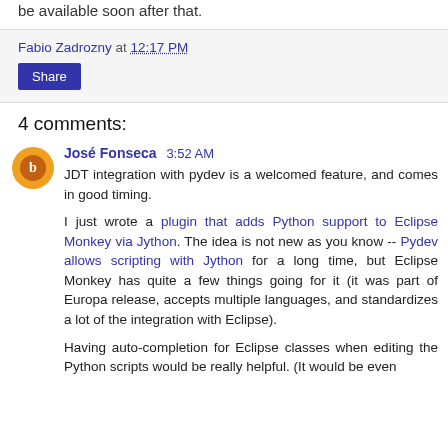be available soon after that.
Fabio Zadrozny at 12:17 PM
Share
4 comments:
José Fonseca 3:52 AM
JDT integration with pydev is a welcomed feature, and comes in good timing.

I just wrote a plugin that adds Python support to Eclipse Monkey via Jython. The idea is not new as you know -- Pydev allows scripting with Jython for a long time, but Eclipse Monkey has quite a few things going for it (it was part of Europa release, accepts multiple languages, and standardizes a lot of the integration with Eclipse).

Having auto-completion for Eclipse classes when editing the Python scripts would be really helpful. (It would be even